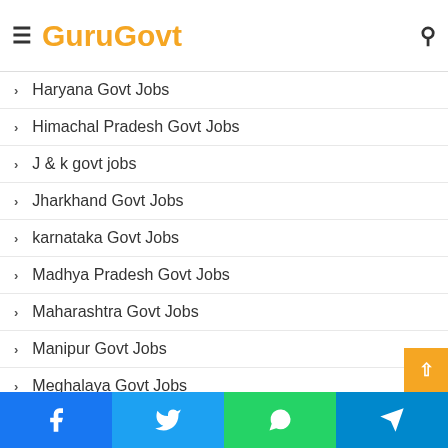GuruGovt
Haryana Govt Jobs
Himachal Pradesh Govt Jobs
J & k govt jobs
Jharkhand Govt Jobs
karnataka Govt Jobs
Madhya Pradesh Govt Jobs
Maharashtra Govt Jobs
Manipur Govt Jobs
Meghalaya Govt Jobs
Odisha Govt Jobs
Nagaland Govt Jobs
Facebook | Twitter | WhatsApp | Telegram